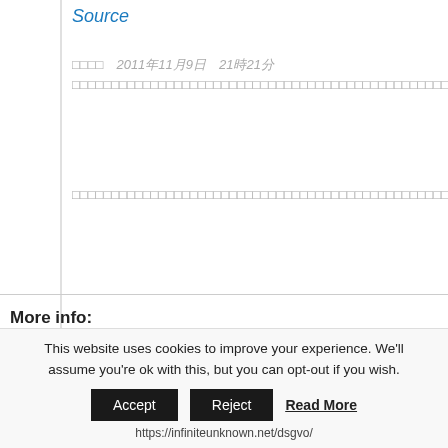Source
投稿日　2011年11月9日　21時21分
□□□□□□□□□□□□□□□□□□□□□□□□□□□□□□□□□□□□□□□□□□□□□□□□□□□□□□□□□□□□□□□□□□□□□□□□□□□□□□□□□□□□□□□□□□□□□□□□□□□□□□□□□□□□□□□□□□□□□□□□□□□□□□□□□□□□□□□□□□□□□□□□□□□□□□□□□□□□□□□□□□□□□□□□□□□□□□□□□□□□□□□□□□□□□□□□□
□□□□□□□□□□□□□□□□□□□□□□□□□□□□□□□□□□□□□□□□□□□□□□□□□□□□□□□□□□□□□□□□□□□□□□□□□□□□□□□□□□□□□□□□□□□□□□□□□□□□□□□□□□□□□□□□□□□□□□□□□□□□□□□□□□□□□□□□□□□□□□□□□□□□□□□□□□□□□□□□□□□□□□□□□□□□□□□□□□□□□□□□□□□□□□□□□□□□
More info:
– Researcher Detects 20,000 Bq/Kg Of Cesium In Fukushima Earthworm
This website uses cookies to improve your experience. We'll assume you're ok with this, but you can opt-out if you wish.
Accept  Reject  Read More
https://infiniteunknown.net/dsgvo/